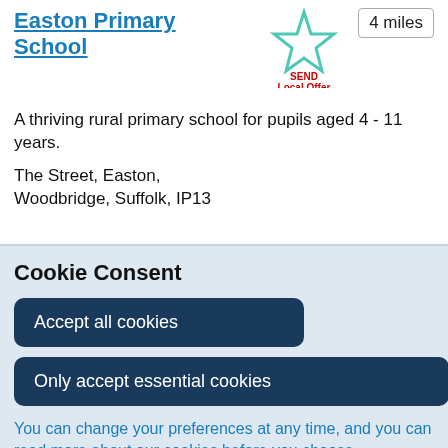Easton Primary School
4 miles
[Figure (illustration): SEND Local Offer star icon in teal/green outline with text 'SEND Local Offer' in red below]
A thriving rural primary school for pupils aged 4 - 11 years.
The Street, Easton, Woodbridge, Suffolk, IP13
Cookie Consent
Accept all cookies
Only accept essential cookies
You can change your preferences at any time, and you can read more about our cookies before you choose.
Leave Website